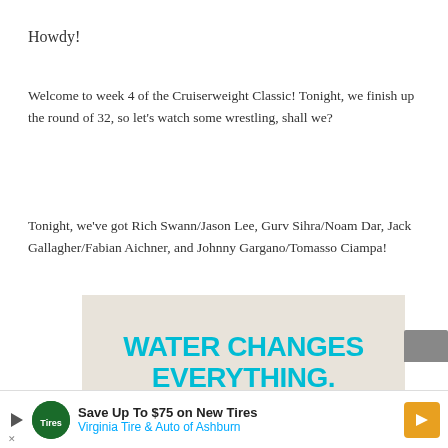Howdy!
Welcome to week 4 of the Cruiserweight Classic! Tonight, we finish up the round of 32, so let's watch some wrestling, shall we?
Tonight, we've got Rich Swann/Jason Lee, Gurv Sihra/Noam Dar, Jack Gallagher/Fabian Aichner, and Johnny Gargano/Tomasso Ciampa!
[Figure (other): Advertisement banner with beige background and bold cyan text reading 'WATER CHANGES EVERYTHING.']
[Figure (other): Bottom advertisement bar: 'Save Up To $75 on New Tires' from Virginia Tire & Auto of Ashburn]